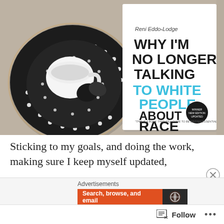[Figure (photo): A book 'Why I'm No Longer Talking to White People About Race' by Reni Eddo-Lodge lying on a carpet next to a black polka-dot plate with a white teacup and dark stones.]
Sticking to my goals, and doing the work, making sure I keep myself updated,
Advertisements
Search, browse, and email